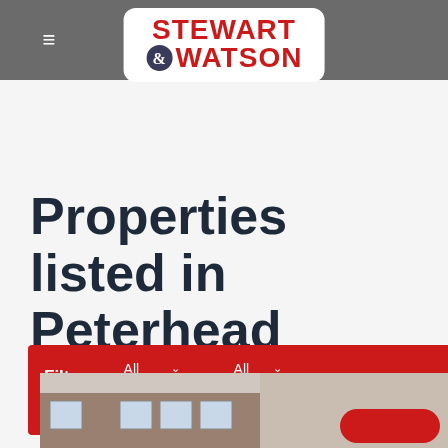Stewart & Watson — navigation header with logo
Properties listed in Peterhead
Filter Properties: All Actions ∨  All Types ∨  Default ∨